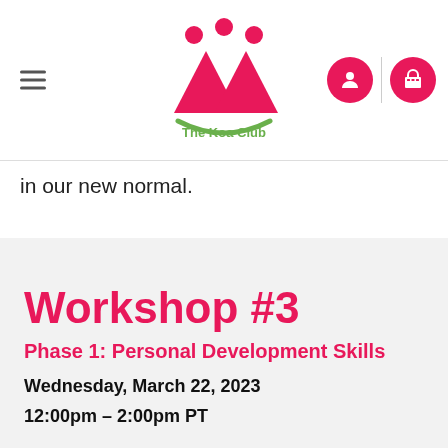[Figure (logo): The Koa Club logo: pink mountain/people figures with green smile arc underneath, text 'The Koa Club']
in our new normal.
Workshop #3
Phase 1: Personal Development Skills
Wednesday, March 22, 2023
12:00pm – 2:00pm PT